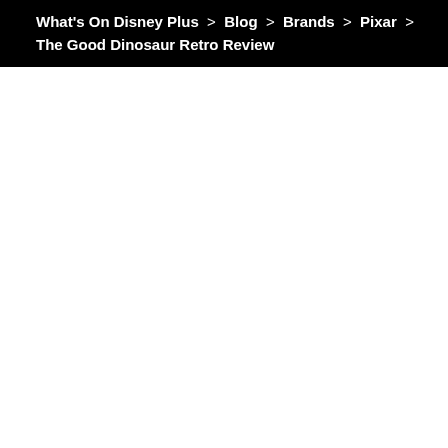What's On Disney Plus > Blog > Brands > Pixar > The Good Dinosaur Retro Review